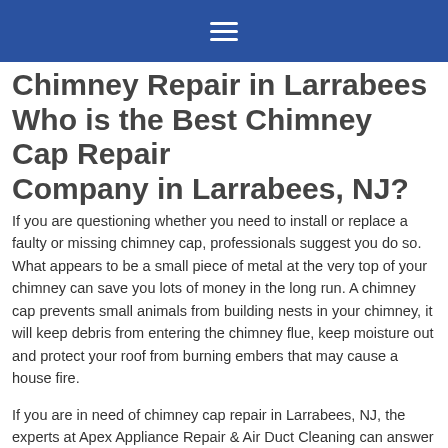≡
Chimney Repair in Larrabees Who is the Best Chimney Cap Repair Company in Larrabees, NJ?
If you are questioning whether you need to install or replace a faulty or missing chimney cap, professionals suggest you do so. What appears to be a small piece of metal at the very top of your chimney can save you lots of money in the long run. A chimney cap prevents small animals from building nests in your chimney, it will keep debris from entering the chimney flue, keep moisture out and protect your roof from burning embers that may cause a house fire.
If you are in need of chimney cap repair in Larrabees, NJ, the experts at Apex Appliance Repair & Air Duct Cleaning can answer your questions and guide you to selecting the right cap for your chimney.